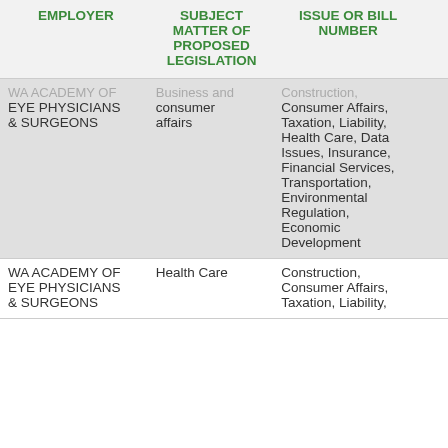| EMPLOYER | SUBJECT MATTER OF PROPOSED LEGISLATION | ISSUE OR BILL NUMBER |  |
| --- | --- | --- | --- |
| WA ACADEMY OF EYE PHYSICIANS & SURGEONS | Business and consumer affairs | Construction, Consumer Affairs, Taxation, Liability, Health Care, Data Issues, Insurance, Financial Services, Transportation, Environmental Regulation, Economic Development |  |
| WA ACADEMY OF EYE PHYSICIANS & SURGEONS | Health Care | Construction, Consumer Affairs, Taxation, Liability, |  |